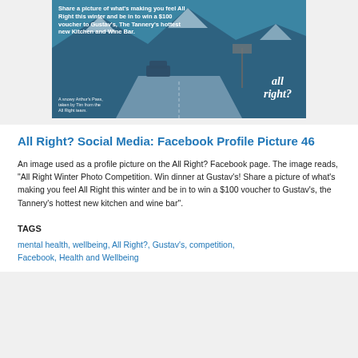[Figure (photo): Promotional image for All Right? Winter Photo Competition. Snowy mountain road scene with text overlay: 'All Right Winter Photo Competition. Win dinner at Gustav's! Share a picture of what's making you feel All Right this winter and be in to win a $100 voucher to Gustav's, The Tannery's hottest new Kitchen and Wine Bar.' All right? logo in bottom right. Photo credit: 'A snowy Arthur's Pass, taken by Tim from the All Right team.']
All Right? Social Media: Facebook Profile Picture 46
An image used as a profile picture on the All Right? Facebook page. The image reads, "All Right Winter Photo Competition. Win dinner at Gustav's! Share a picture of what's making you feel All Right this winter and be in to win a $100 voucher to Gustav's, the Tannery's hottest new kitchen and wine bar".
TAGS
mental health, wellbeing, All Right?, Gustav's, competition, Facebook, Health and Wellbeing